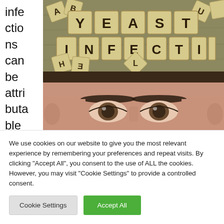infections can be attributable to
[Figure (photo): Photo of wooden Scrabble tiles spelling out YEAST INFECTION on a wooden surface, with other scattered tiles around]
[Figure (photo): Close-up photo of a man's face from the eyes up, looking forward]
We use cookies on our website to give you the most relevant experience by remembering your preferences and repeat visits. By clicking "Accept All", you consent to the use of ALL the cookies. However, you may visit "Cookie Settings" to provide a controlled consent.
Cookie Settings | Accept All